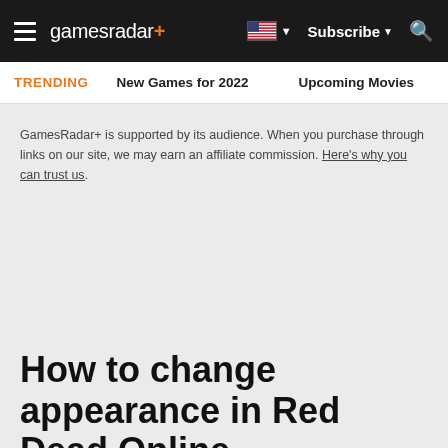gamesradar+ | Subscribe | Search
TRENDING   New Games for 2022   Upcoming Movies
GamesRadar+ is supported by its audience. When you purchase through links on our site, we may earn an affiliate commission. Here's why you can trust us.
How to change appearance in Red Dead Online